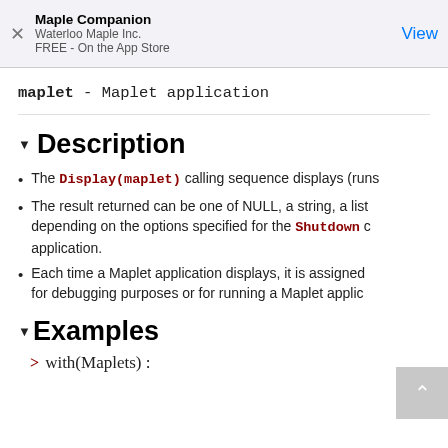Maple Companion
Waterloo Maple Inc.
FREE - On the App Store
View
maplet - Maplet application
▼ Description
The Display(maplet) calling sequence displays (runs...
The result returned can be one of NULL, a string, a list... depending on the options specified for the Shutdown c... application.
Each time a Maplet application displays, it is assigned... for debugging purposes or for running a Maplet applic...
▼Examples
> with(Maplets) :